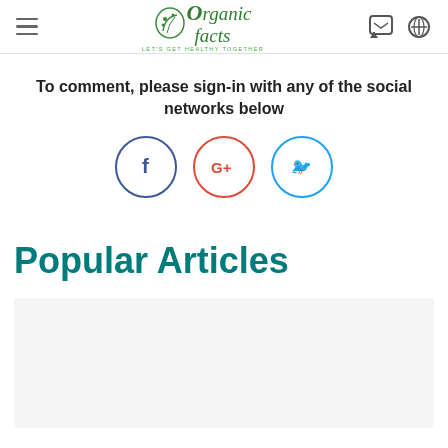Organic Facts - Let's get healthy together
To comment, please sign-in with any of the social networks below
[Figure (other): Social login buttons: Facebook (blue circle), Google+ (red circle), Twitter (blue circle)]
Popular Articles